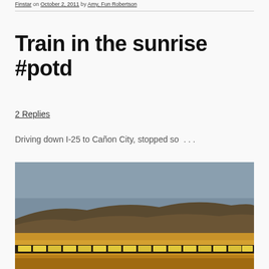on October 2, 2011 by Amy, Fun Robertson
Train in the sunrise #potd
2 Replies
Driving down I-25 to Cañon City, stopped so . . .
[Figure (photo): A train in the sunrise landscape with golden fields in the foreground, hills in the background, and a blue-grey sky. The train appears as a long row of yellow/gold freight cars stretching across the middle of the image.]